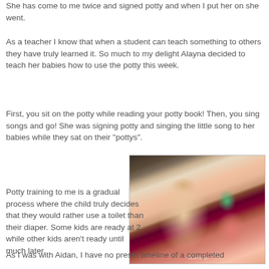She has come to me twice and signed potty and when I put her on she went.
As a teacher I know that when a student can teach something to others they have truly learned it. So much to my delight Alayna decided to teach her babies how to use the potty this week.
First, you sit on the potty while reading your potty book! Then, you sing songs and go! She was signing potty and singing the little song to her babies while they sat on their "pottys".
[Figure (photo): A toddler girl with blonde hair sitting on the floor in a pink outfit, facing two baby dolls, on a patterned rug near a couch.]
Potty training to me is a gradual process where the child truly decides that they would rather use a toilet than their diaper. Some kids are ready at 2 while other kids aren't ready until much later.
As I was with Aidan, I have no preset timeline of a completed